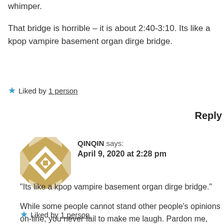whimper.
That bridge is horrible – it is about 2:40-3:10. Its like a kpop vampire basement organ dirge bridge.
★ Liked by 1 person
Reply
[Figure (illustration): Avatar with geometric diamond/quilt pattern in tan/gold and white triangles]
QINQIN says:
April 9, 2020 at 2:28 pm
“Its like a kpop vampire basement organ dirge bridge.”

While some people cannot stand other people’s opinions on-line, you never fail to make me laugh. Pardon me, kekekeke.
★ Liked by 1 person